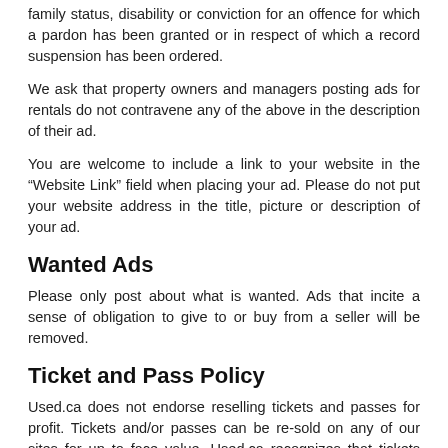family status, disability or conviction for an offence for which a pardon has been granted or in respect of which a record suspension has been ordered.
We ask that property owners and managers posting ads for rentals do not contravene any of the above in the description of their ad.
You are welcome to include a link to your website in the “Website Link” field when placing your ad. Please do not put your website address in the title, picture or description of your ad.
Wanted Ads
Please only post about what is wanted. Ads that incite a sense of obligation to give to or buy from a seller will be removed.
Ticket and Pass Policy
Used.ca does not endorse reselling tickets and passes for profit. Tickets and/or passes can be re-sold on any of our sites for up to face value. Used.ca recognizes that tickets often have service fees, therefore, minor price fluctuations (classified as under $20) will be permitted.
All ads for tickets and/or passes on any Used.ca city sites will be